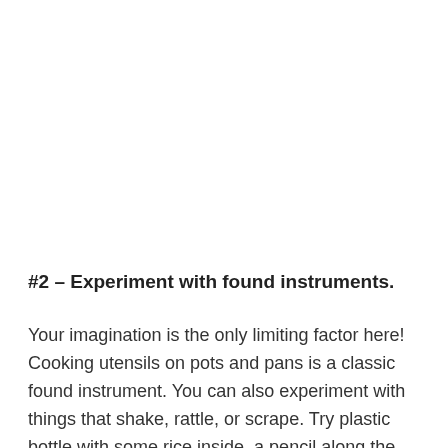#2 – Experiment with found instruments.
Your imagination is the only limiting factor here! Cooking utensils on pots and pans is a classic found instrument. You can also experiment with things that shake, rattle, or scrape. Try plastic bottle with some rice inside, a pencil along the ridges of a tin can or